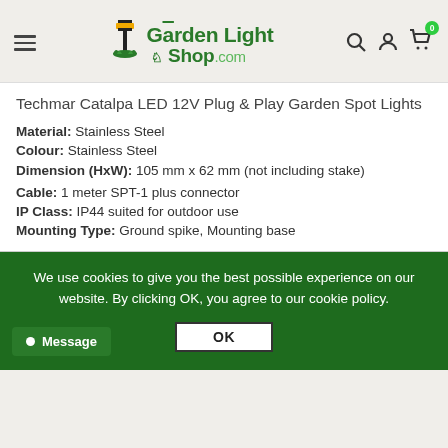[Figure (logo): Garden Light Shop .com logo with lamp post icon]
Techmar Catalpa LED 12V Plug & Play Garden Spot Lights
Material: Stainless Steel
Colour: Stainless Steel
Dimension (HxW): 105 mm x 62 mm (not including stake)
Cable: 1 meter SPT-1 plus connector
IP Class: IP44 suited for outdoor use
Mounting Type: Ground spike, Mounting base
We use cookies to give you the best possible experience on our website. By clicking OK, you agree to our cookie policy.